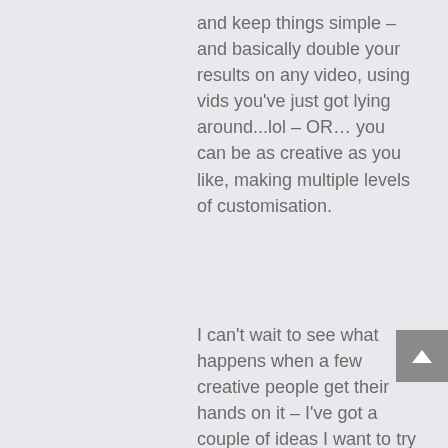and keep things simple – and basically double your results on any video, using vids you've just got lying around...lol – OR… you can be as creative as you like, making multiple levels of customisation.
I can't wait to see what happens when a few creative people get their hands on it – I've got a couple of ideas I want to try with it, but would love to see some out of the box